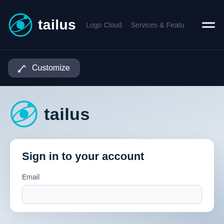[Figure (logo): Tailus logo in navigation bar: circular icon with cyan orbit rings and dot, white text 'tailus']
Logo Cloud
Services & Featu...
Customize
[Figure (logo): Tailus logo in main card area: circular cyan icon with text 'tailus' in dark teal]
Sign in to your account
Email